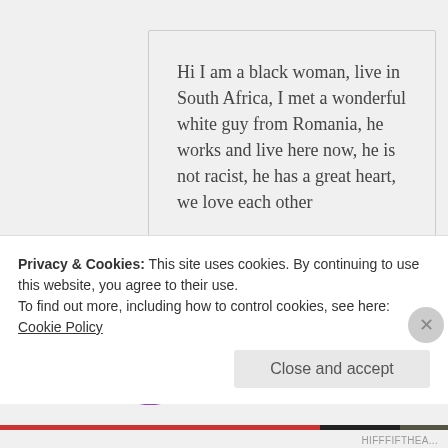Hi I am a black woman, live in South Africa, I met a wonderful white guy from Romania, he works and live here now, he is not racist, he has a great heart, we love each other
Liked by 1 person
[Figure (illustration): Purple circular avatar with decorative snowflake/star pattern]
Sam
MAY 14, 2017 AT 5:45 AM
Privacy & Cookies: This site uses cookies. By continuing to use this website, you agree to their use.
To find out more, including how to control cookies, see here: Cookie Policy
Close and accept